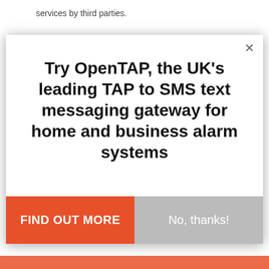services by third parties.
7    Charges and Payments
7.1    The Customer agrees to pay without set off
[Figure (screenshot): Modal popup overlay with close button (×), title 'Try OpenTAP, the UK's leading TAP to SMS text messaging gateway for home and business alarm systems', and two buttons: 'FIND OUT MORE' (orange) and 'No, thanks!' (grey)]
n amenities.
AddThis